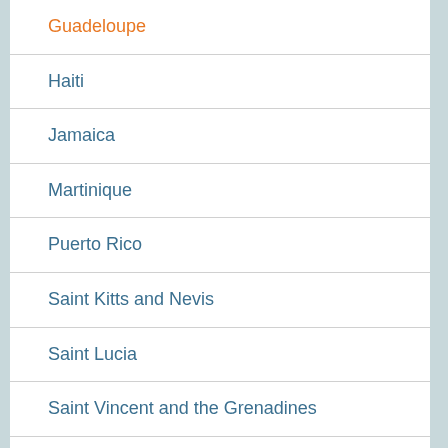Guadeloupe
Haiti
Jamaica
Martinique
Puerto Rico
Saint Kitts and Nevis
Saint Lucia
Saint Vincent and the Grenadines
Trinidad and Tobago